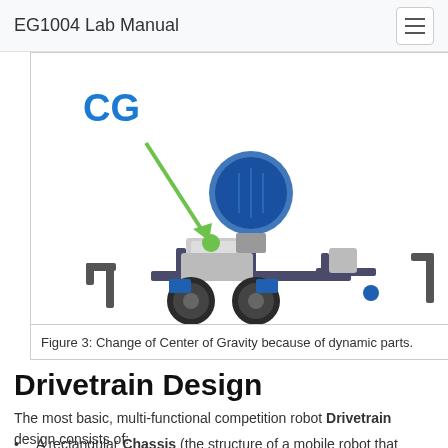EG1004 Lab Manual
[Figure (photo): A VEX competition robot with labeled Center of Gravity (CG) indicated by a green arrow pointing to the center mass area of the robot. The robot has wheels, motors, and structural metal frame components.]
Figure 3: Change of Center of Gravity because of dynamic parts.
Drivetrain Design
The most basic, multi-functional competition robot Drivetrain design consists of:
A rectangular Chassis (the structure of a mobile robot that holds wheels, motors, and/or any other hardware used to make up a Drivetrain).